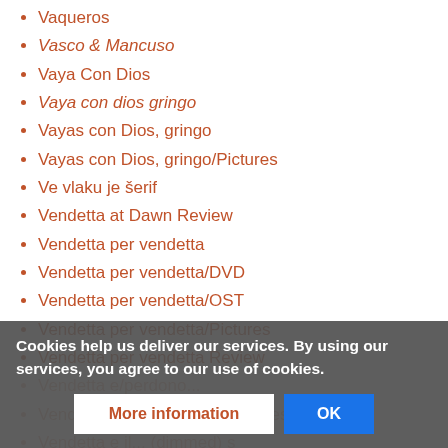Vaqueros
Vasco & Mancuso
Vaya Con Dios
Vaya con dios gringo
Vayas con Dios, gringo
Vayas con Dios, gringo/Pictures
Ve vlaku je šerif
Vendetta at Dawn Review
Vendetta per vendetta
Vendetta per vendetta/DVD
Vendetta per vendetta/OST
Vendetta per vendetta/Pictures
Vendetta per vendetta Review
Vendetta e/perdono... (partially visible, dimmed)
Vendetta e il (partially visible, dimmed)
Vendetta e il (partially visible, dimmed)
Cookies help us deliver our services. By using our services, you agree to our use of cookies.
More information | OK